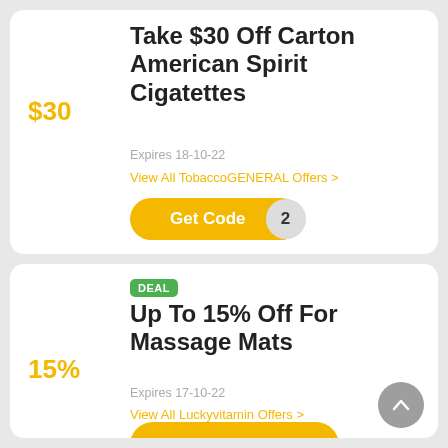Take $30 Off Carton American Spirit Cigatettes
$30
Expires 18-10-22
View All TobaccoGENERAL Offers >
Get Code
DEAL
Up To 15% Off For Massage Mats
15%
Expires 17-10-22
View All Luckyvitamin Offers >
Get Deal